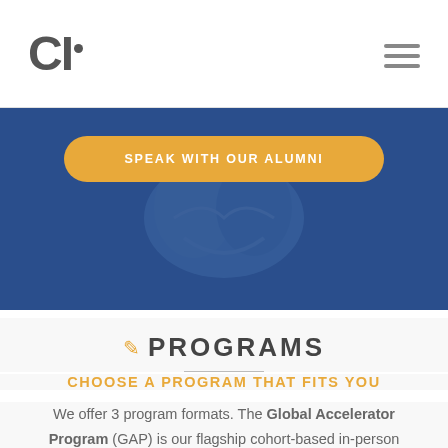CI·
[Figure (screenshot): Blue banner with a 'SPEAK WITH OUR ALUMNI' golden button, decorative brain-like imagery in background]
PROGRAMS
CHOOSE A PROGRAM THAT FITS YOU
We offer 3 program formats. The Global Accelerator Program (GAP) is our flagship cohort-based in-person experience, delivered exclusively in London and New York